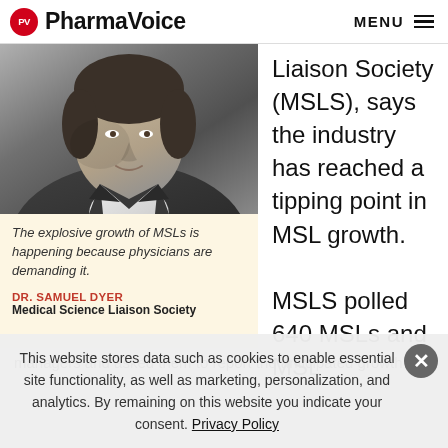PharmaVoice  MENU
[Figure (photo): Grayscale portrait photo of Dr. Samuel Dyer in a dark suit with white shirt]
The explosive growth of MSLs is happening because physicians are demanding it.
DR. SAMUEL DYER
Medical Science Liaison Society
Liaison Society (MSLS), says the industry has reached a tipping point in MSL growth.

MSLS polled 640 MSLs and MSL managers and asked them to report the anticipated growth
managers and asked them to report the anticipated growth
This website stores data such as cookies to enable essential site functionality, as well as marketing, personalization, and analytics. By remaining on this website you indicate your consent. Privacy Policy